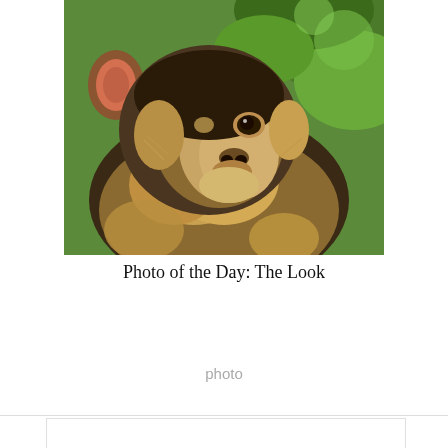[Figure (photo): Close-up photo of a baby monkey with golden-brown fur around its face, dark eyes, and a large ear visible, resting against what appears to be another animal, with green foliage in the background.]
Photo of the Day: The Look
photo
[Figure (other): Advertisement banner for Walgreens showing the Walgreens script logo 'W' in red, text 'Shop Walgreens Brand & Save' in bold black, 'Walgreens Photo' in blue, and a blue navigation diamond icon on the right. Below the ad are small play and close (X) icons.]